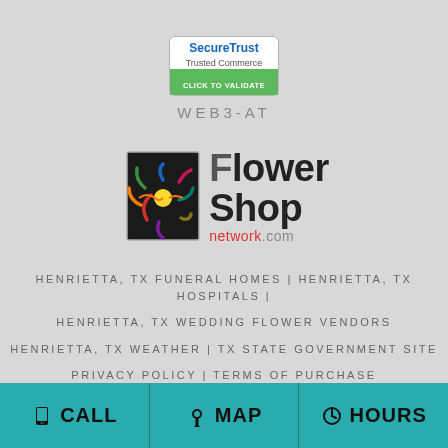[Figure (logo): SecureTrust Trusted Commerce - Click to Validate badge]
WEB3-AT
[Figure (logo): Flower Shop Network .com logo with colorful flower graphic]
HENRIETTA, TX FUNERAL HOMES | HENRIETTA, TX HOSPITALS |
HENRIETTA, TX WEDDING FLOWER VENDORS
HENRIETTA, TX WEATHER | TX STATE GOVERNMENT SITE
PRIVACY POLICY | TERMS OF PURCHASE
CALL | MAP | HOURS